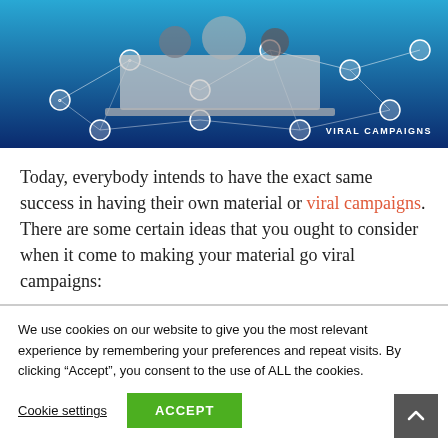[Figure (photo): A blue network/social media themed banner image with people, a laptop, and connected nodes. Text 'VIRAL CAMPAIGNS' appears in the bottom right corner.]
Today, everybody intends to have the exact same success in having their own material or viral campaigns. There are some certain ideas that you ought to consider when it come to making your material go viral campaigns:
We use cookies on our website to give you the most relevant experience by remembering your preferences and repeat visits. By clicking “Accept”, you consent to the use of ALL the cookies.
Cookie settings  ACCEPT